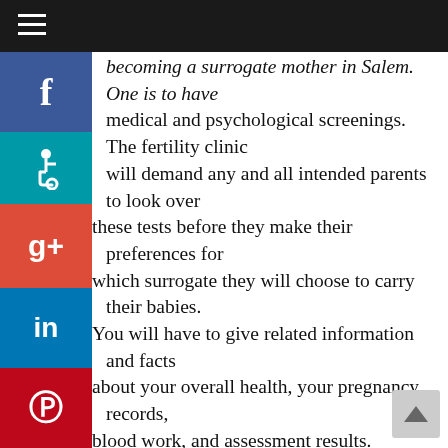Navigation bar with hamburger menu
becoming a surrogate mother in Salem. One is to have medical and psychological screenings. The fertility clinic will demand any and all intended parents to look over these tests before they make their preferences for which surrogate they will choose to carry their babies. You will have to give related information and facts about your overall health, your pregnancy records, blood work, and assessment results.

As far as the psychological screening goes, you will work with a recognized therapist who will test you on many different factors. Often, assessments to becoming a surrogate mother in Salem OR will first consist of an email test and then a phone conversation. Often, that is enough for people to be able to tell that you can be a surrogate, but other times you will have to meet with the counselor to pursue some additional testing. The intention is to identify whether you are of